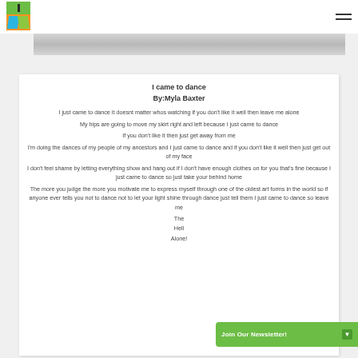Navigation bar with logo and hamburger menu
I came to dance
By:Myla Baxter
I just came to dance it doesnt matter whos watching if you don't like it well then leave me alone
My hips are going to move my skirt right and left because I just came to dance
If you don't like it then just get away from me
I'm doing the dances of my people of my ancestors and I just came to dance and if you don't like it well then just get out of my face
I don't feel shame by letting everything show and hang out if I don't have enough clothes on for you that's fine because I just came to dance so just take your behind home
The more you judge the more you motivate me to express myself through one of the oldest art forms in the world so if anyone ever tells you not to dance not to let your light shine through dance just tell them I just came to dance so leave me
The
Hell
Alone!